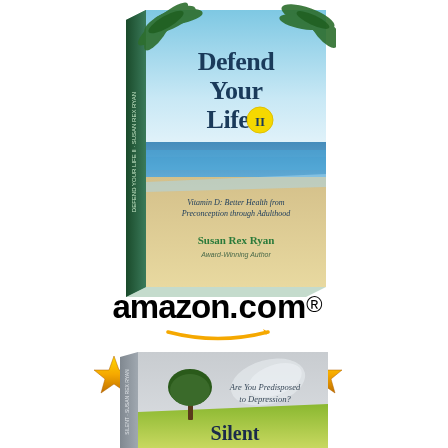[Figure (illustration): Book cover of 'Defend Your Life II' by Susan Rex Ryan, showing a tropical beach scene with palm fronds, blue sky, ocean, and sandy beach. Subtitle: Vitamin D: Better Health from Preconception through Adulthood. Author listed as Susan Rex Ryan, Award-Winning Author.]
[Figure (logo): Amazon.com logo with orange smile/arrow underneath, followed by five gold stars indicating a 5-star rating.]
[Figure (illustration): Partial book cover of 'Silent' showing a lone tree on a green hill under a grey sky, with text 'Are You Predisposed to Depression?' visible.]